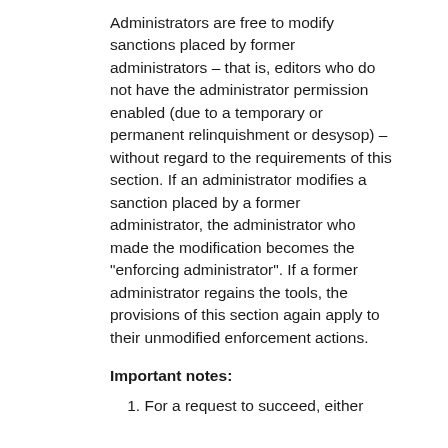Administrators are free to modify sanctions placed by former administrators – that is, editors who do not have the administrator permission enabled (due to a temporary or permanent relinquishment or desysop) – without regard to the requirements of this section. If an administrator modifies a sanction placed by a former administrator, the administrator who made the modification becomes the "enforcing administrator". If a former administrator regains the tools, the provisions of this section again apply to their unmodified enforcement actions.
Important notes:
1. For a request to succeed, either